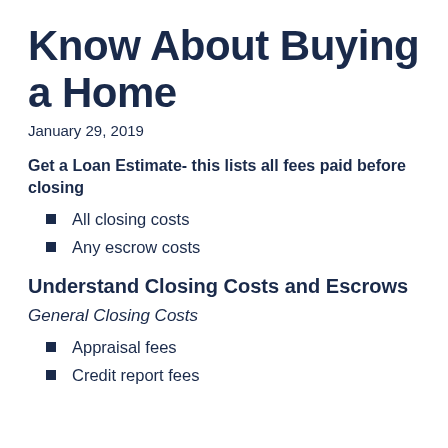Know About Buying a Home
January 29, 2019
Get a Loan Estimate- this lists all fees paid before closing
All closing costs
Any escrow costs
Understand Closing Costs and Escrows
General Closing Costs
Appraisal fees
Credit report fees